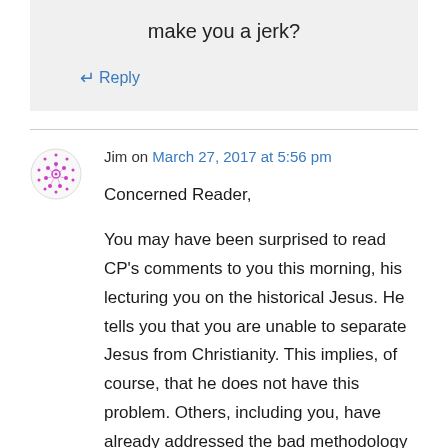make you a jerk?
↵ Reply
Jim on March 27, 2017 at 5:56 pm
Concerned Reader,

You may have been surprised to read CP's comments to you this morning, his lecturing you on the historical Jesus. He tells you that you are unable to separate Jesus from Christianity. This implies, of course, that he does not have this problem. Others, including you, have already addressed the bad methodology he employs in attempting to find the 'historical Jesus,' so I will